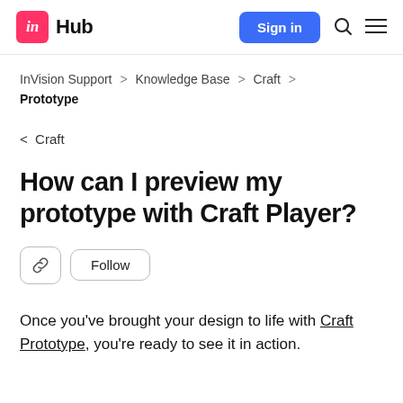in Hub  Sign in
InVision Support > Knowledge Base > Craft > Prototype
< Craft
How can I preview my prototype with Craft Player?
Once you've brought your design to life with Craft Prototype, you're ready to see it in action.